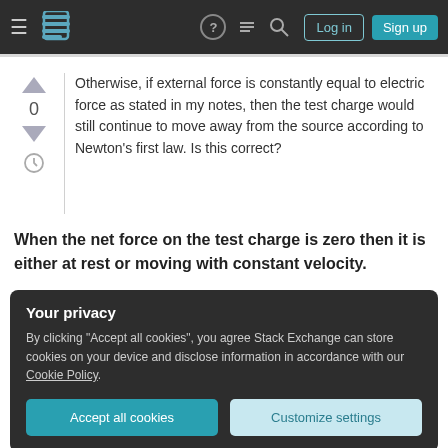Stack Exchange navigation bar with hamburger menu, logo, help, chat, search icons, Log in and Sign up buttons
Otherwise, if external force is constantly equal to electric force as stated in my notes, then the test charge would still continue to move away from the source according to Newton’s first law. Is this correct?
When the net force on the test charge is zero then it is either at rest or moving with constant velocity.
Your privacy
By clicking “Accept all cookies”, you agree Stack Exchange can store cookies on your device and disclose information in accordance with our Cookie Policy.